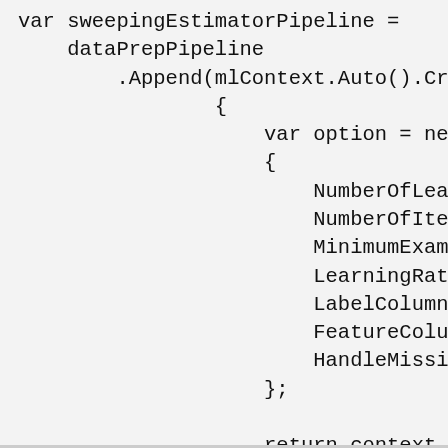[Figure (screenshot): Code snippet showing C# code with variable sweepingEstimatorPipeline assignment, dataPrepPipeline.Append call with mlContext.Auto().Create, option object initialization with properties NumberOfLeav, NumberOfIter, MinimumExamp, LearningRate, LabelColumnN, FeatureColum, HandleMissin, closing }; and return context.Re, }, searchSpace));]